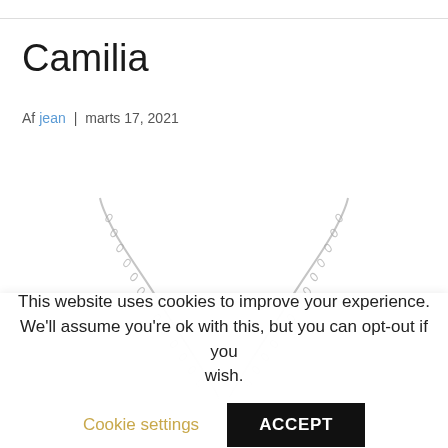Camilia
Af jean | marts 17, 2021
[Figure (photo): A diamond pendant necklace on a silver chain, with a floral/heart-shaped pendant encrusted with small diamonds, photographed on white background.]
This website uses cookies to improve your experience. We'll assume you're ok with this, but you can opt-out if you wish. Cookie settings ACCEPT